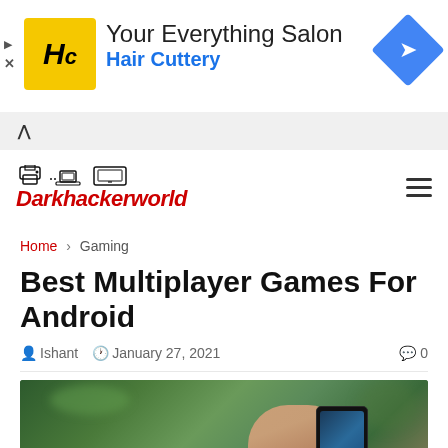[Figure (other): Hair Cuttery advertisement banner with yellow logo, 'Your Everything Salon' headline, 'Hair Cuttery' subtitle in blue, and a blue navigation arrow diamond icon on the right]
Darkhackerworld navigation bar with logo icons and hamburger menu
Home › Gaming
Best Multiplayer Games For Android
Ishant   January 27, 2021   0
[Figure (photo): Person holding a smartphone outdoors, blurred green background, gaming context]